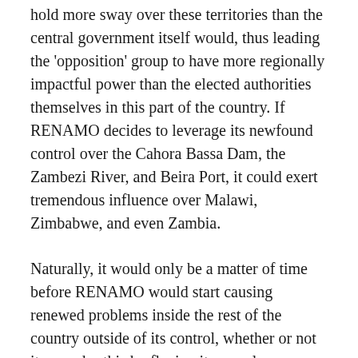hold more sway over these territories than the central government itself would, thus leading the 'opposition' group to have more regionally impactful power than the elected authorities themselves in this part of the country. If RENAMO decides to leverage its newfound control over the Cahora Bassa Dam, the Zambezi River, and Beira Port, it could exert tremendous influence over Malawi, Zimbabwe, and even Zambia.
Naturally, it would only be a matter of time before RENAMO would start causing renewed problems inside the rest of the country outside of its control, whether or not it precedes this by flexing its muscles internationally via the abovementioned avenues. The group might seek to 'justify' its actions under the 'democratic' guise that it's 'not fair' for FRELIMO's